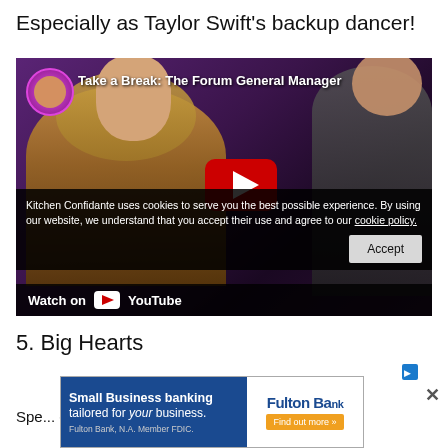Especially as Taylor Swift's backup dancer!
[Figure (screenshot): YouTube video embed showing Taylor Swift and James Corden, titled 'Take a Break: The Forum General Manager', with a cookie consent banner overlay saying 'Kitchen Confidante uses cookies to serve you the best possible experience. By using our website, we understand that you accept their use and agree to our cookie policy.' with an Accept button, and a 'Watch on YouTube' bar at the bottom.]
5. Big Hearts
Spe... er more.
[Figure (screenshot): Advertisement for Fulton Bank: 'Small Business banking tailored for your business. Find out more.' with close X button.]